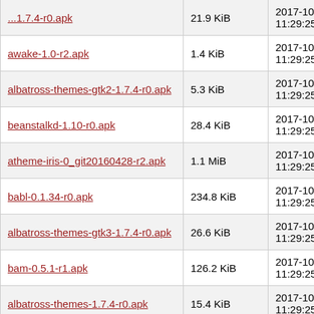| Filename | Size | Date |
| --- | --- | --- |
| ...1.7.4-r0.apk | 21.9 KiB | 2017-10-30 11:29:25 |
| awake-1.0-r2.apk | 1.4 KiB | 2017-10-30 11:29:25 |
| albatross-themes-gtk2-1.7.4-r0.apk | 5.3 KiB | 2017-10-30 11:29:25 |
| beanstalkd-1.10-r0.apk | 28.4 KiB | 2017-10-30 11:29:25 |
| atheme-iris-0_git20160428-r2.apk | 1.1 MiB | 2017-10-30 11:29:25 |
| babl-0.1.34-r0.apk | 234.8 KiB | 2017-10-30 11:29:25 |
| albatross-themes-gtk3-1.7.4-r0.apk | 26.6 KiB | 2017-10-30 11:29:25 |
| bam-0.5.1-r1.apk | 126.2 KiB | 2017-10-30 11:29:25 |
| albatross-themes-1.7.4-r0.apk | 15.4 KiB | 2017-10-30 11:29:25 |
| awake-doc-1.0-r2.apk | 4.0 KiB | 2017-10-30 11:29:25 |
| afpfs-ng-doc-0.8.1-r8.apk | 3.5 KiB | 2017-10-30 11:29:25 |
| ... | 373.8 | 2017-10-30 |